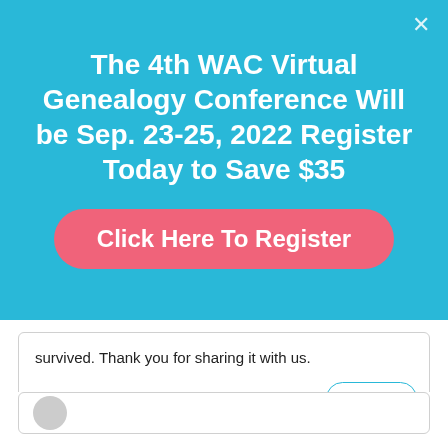The 4th WAC Virtual Genealogy Conference Will be Sep. 23-25, 2022 Register Today to Save $35
Click Here To Register
survived. Thank you for sharing it with us.
Reply